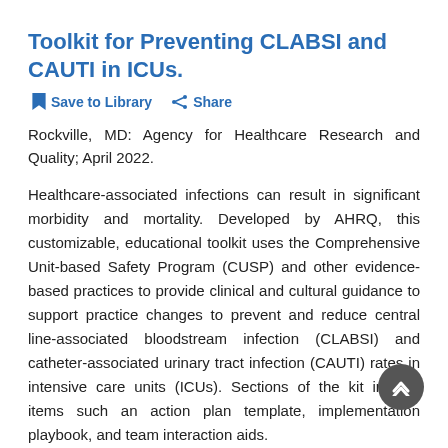Toolkit for Preventing CLABSI and CAUTI in ICUs.
Save to Library   Share
Rockville, MD: Agency for Healthcare Research and Quality; April 2022.
Healthcare-associated infections can result in significant morbidity and mortality. Developed by AHRQ, this customizable, educational toolkit uses the Comprehensive Unit-based Safety Program (CUSP) and other evidence-based practices to provide clinical and cultural guidance to support practice changes to prevent and reduce central line-associated bloodstream infection (CLABSI) and catheter-associated urinary tract infection (CAUTI) rates in intensive care units (ICUs). Sections of the kit include items such an action plan template, implementation playbook, and team interaction aids.